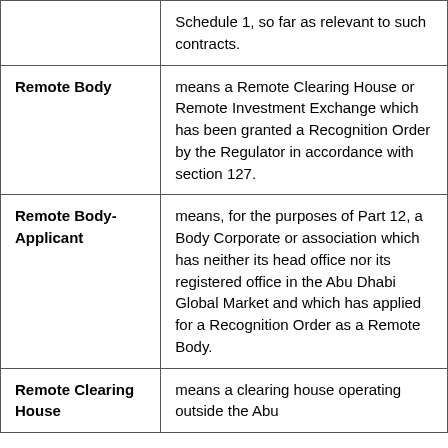| Term | Definition |
| --- | --- |
|  | Schedule 1, so far as relevant to such contracts. |
| Remote Body | means a Remote Clearing House or Remote Investment Exchange which has been granted a Recognition Order by the Regulator in accordance with section 127. |
| Remote Body-Applicant | means, for the purposes of Part 12, a Body Corporate or association which has neither its head office nor its registered office in the Abu Dhabi Global Market and which has applied for a Recognition Order as a Remote Body. |
| Remote Clearing House | means a clearing house operating outside the Abu |